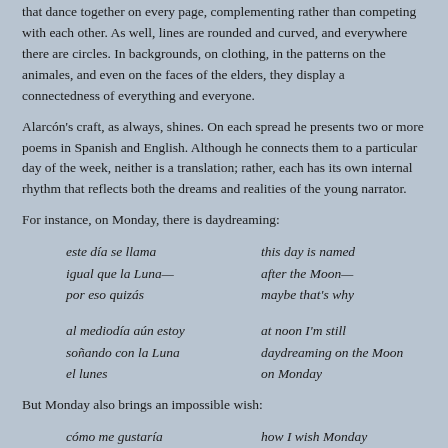that dance together on every page, complementing rather than competing with each other. As well, lines are rounded and curved, and everywhere there are circles. In backgrounds, on clothing, in the patterns on the animales, and even on the faces of the elders, they display a connectedness of everything and everyone.
Alarcón's craft, as always, shines. On each spread he presents two or more poems in Spanish and English. Although he connects them to a particular day of the week, neither is a translation; rather, each has its own internal rhythm that reflects both the dreams and realities of the young narrator.
For instance, on Monday, there is daydreaming:
este día se llama / igual que la Luna— / por eso quizás | this day is named / after the Moon— / maybe that's why
al mediodía aún estoy / soñando con la Luna / el lunes | at noon I'm still / daydreaming on the Moon / on Monday
But Monday also brings an impossible wish:
cómo me gustaría / que el lunes se volviera | how I wish Monday / would just turn